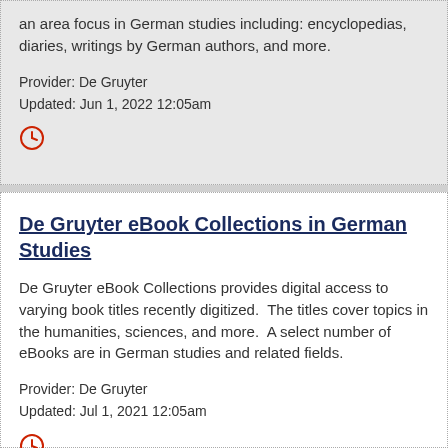an area focus in German studies including: encyclopedias, diaries, writings by German authors, and more.
Provider: De Gruyter
Updated: Jun 1, 2022 12:05am
[Figure (other): Clock icon (red outline circle with clock hands)]
De Gruyter eBook Collections in German Studies
De Gruyter eBook Collections provides digital access to varying book titles recently digitized.  The titles cover topics in the humanities, sciences, and more.  A select number of eBooks are in German studies and related fields.
Provider: De Gruyter
Updated: Jul 1, 2021 12:05am
[Figure (other): Clock icon (red outline circle with clock hands)]